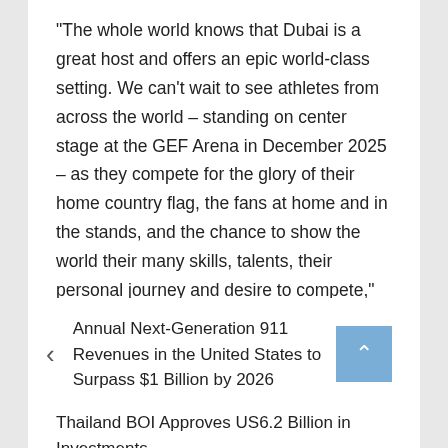"The whole world knows that Dubai is a great host and offers an epic world-class setting. We can't wait to see athletes from across the world – standing on center stage at the GEF Arena in December 2025 – as they compete for the glory of their home country flag, the fans at home and in the stands, and the chance to show the world their many skills, talents, their personal journey and desire to compete," he added.
For media inquiries: media@globalesports.org.
Annual Next-Generation 911 Revenues in the United States to Surpass $1 Billion by 2026
Thailand BOI Approves US6.2 Billion in Investments, including From...